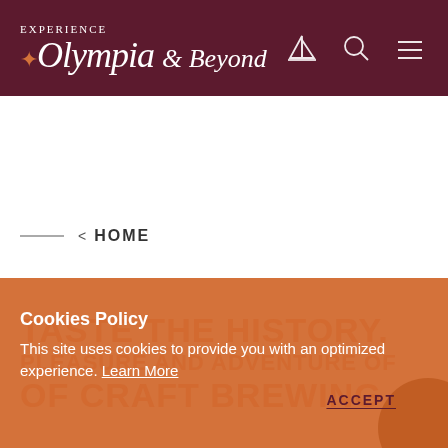[Figure (logo): Experience Olympia & Beyond logo in white script on dark maroon header with sailboat, search, and hamburger menu icons]
< HOME
TASTE THE HISTORY, OF CRAFT BREWING (watermark background text)
Cookies Policy
This site uses cookies to provide you with an optimized experience. Learn More
ACCEPT